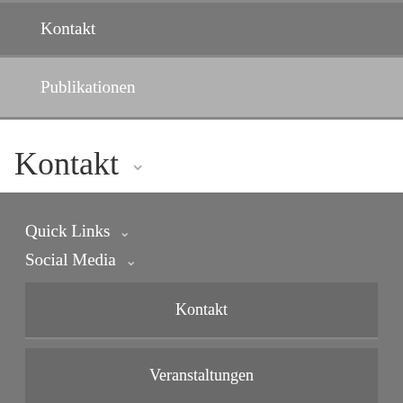Kontakt
Publikationen
Kontakt ∨
Quick Links ∨
Social Media ∨
Kontakt
Veranstaltungen